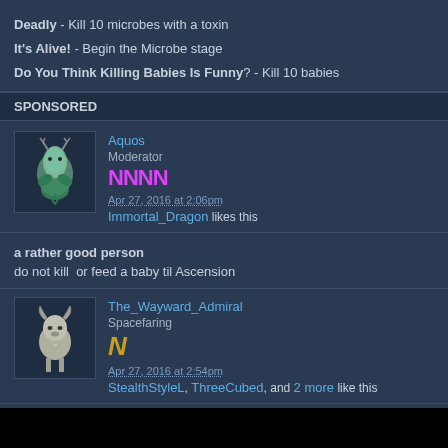Deadly - Kill 10 microbes with a toxin
It's Alive! - Begin the Microbe stage
Do You Think Killing Babies Is Funny? - Kill 10 babies
SPONSORED
Aquos
Moderator
NNNN
Apr 27, 2016 at 2:06pm
Immortal_Dragon likes this
a rather good person
do not kill  or feed a baby til Ascension
The_Wayward_Admiral
Spacefaring
N
Apr 27, 2016 at 2:54pm
StealthStyleL, ThreeCubed, and 2 more like this
I Want to Believe: Cover up the existence of alien life as an industrial stage government.